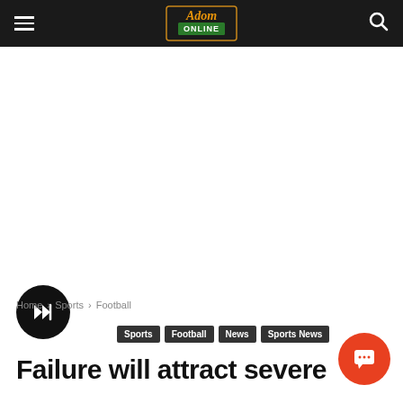Adom Online
[Figure (screenshot): White advertisement/blank area below header]
[Figure (other): Black circular play button with forward/skip icon]
Home › Sports › Football
Sports  Football  News  Sports News
Failure will attract severe